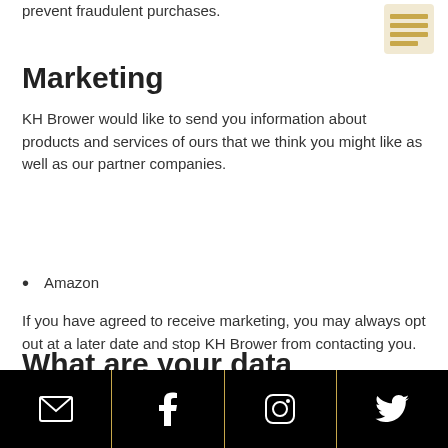prevent fraudulent purchases.
Marketing
KH Brower would like to send you information about products and services of ours that we think you might like as well as our partner companies.
Amazon
If you have agreed to receive marketing, you may always opt out at a later date and stop KH Brower from contacting you.
What are your data protection rights?
KH Brower would like to make sure you are fully aware of all of your
Email | Facebook | Instagram | Twitter social icons